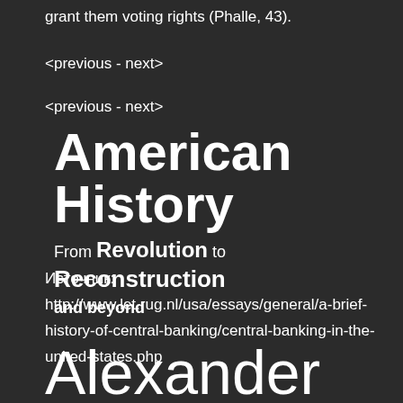grant them voting rights (Phalle, 43).
<previous - next>
<previous - next>
American History
From Revolution to Reconstruction and beyond
Источник: http://www.let.rug.nl/usa/essays/general/a-brief-history-of-central-banking/central-banking-in-the-united-states.php
Alexander